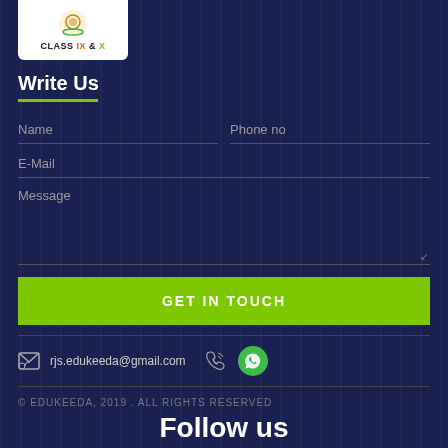[Figure (logo): Class IX & X logo with emblem]
Write Us
Name | Phone no | E-Mail | Message form fields
GET IN TOUCH
rjs.edukeeda@gmail.com
© EDUKEEDA, 2019 . ALL RIGHTS RESERVED
Follow us